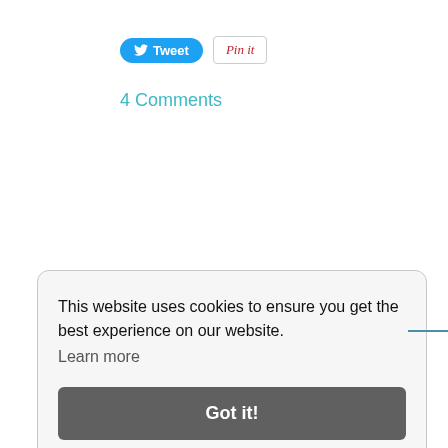[Figure (screenshot): Twitter Tweet button (blue rounded) and Pinterest Pin it button (white with red italic text)]
4 Comments
This website uses cookies to ensure you get the best experience on our website. Learn more
Got it!